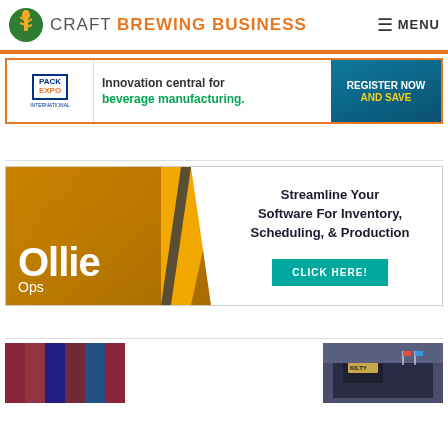CRAFT BREWING BUSINESS — MENU
[Figure (screenshot): Pack Expo International advertisement banner: Innovation central for beverage manufacturing. Register Now and Save.]
[Figure (screenshot): Ollie Ops advertisement: Streamline Your Software For Inventory, Scheduling, & Production. Click Here!]
[Figure (photo): Two small thumbnail images at bottom of page, partially visible]
[Figure (photo): Second thumbnail image at bottom right, partially visible]